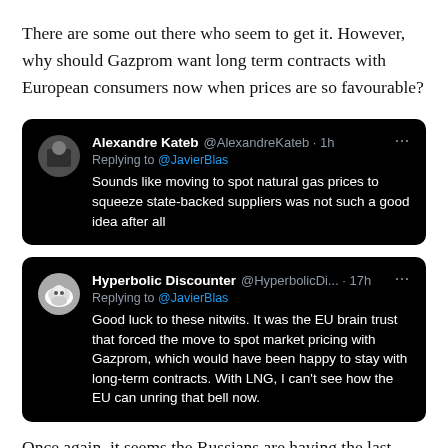There are some out there who seem to get it. However, why should Gazprom want long term contracts with European consumers now when prices are so favourable?
[Figure (screenshot): Tweet from Alexandre Kateb @AlexandreKateb, 1h ago, replying to @JavierBlas: 'Sounds like moving to spot natural gas prices to squeeze state-backed suppliers was not such a good idea after all']
[Figure (screenshot): Tweet from Hyperbolic Discounter @HyperbolicDi..., 17h ago, replying to @JavierBlas: 'Good luck to these nitwits. It was the EU brain trust that forced the move to spot market pricing with Gazprom, which would have been happy to stay with long-term contracts. With LNG, I can't see how the EU can unring that bell now.']
Once again, it seems the Russians are having the last